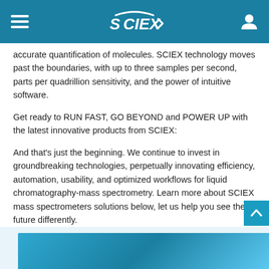SCIEX navigation header
accurate quantification of molecules. SCIEX technology moves past the boundaries, with up to three samples per second, parts per quadrillion sensitivity, and the power of intuitive software.
Get ready to RUN FAST, GO BEYOND and POWER UP with the latest innovative products from SCIEX:
And that's just the beginning. We continue to invest in groundbreaking technologies, perpetually innovating efficiency, automation, usability, and optimized workflows for liquid chromatography-mass spectrometry. Learn more about SCIEX mass spectrometers solutions below, let us help you see the future differently.
[Figure (photo): Partial view of a SCIEX product or laboratory equipment image at the bottom of the page, showing blue gradient tones.]